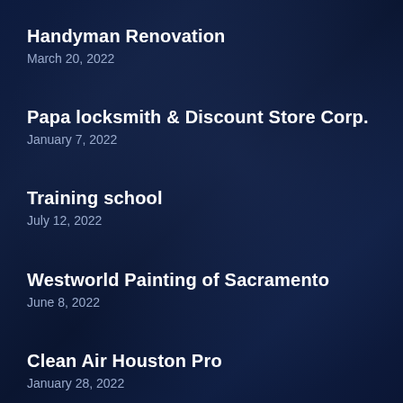Handyman Renovation
March 20, 2022
Papa locksmith & Discount Store Corp.
January 7, 2022
Training school
July 12, 2022
Westworld Painting of Sacramento
June 8, 2022
Clean Air Houston Pro
January 28, 2022